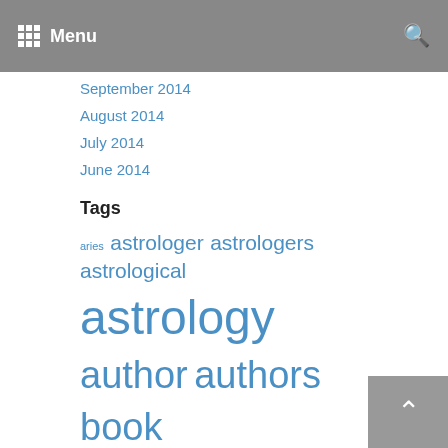Menu
September 2014
August 2014
July 2014
June 2014
Tags
aries astrologer astrologers astrological astrology author authors book books cancer capricorn characters chiron daily fantasy fiction fictional gemini horoscope horoscopes jupiter literature mars mercury moon neptune novel novels poetry poets readers reading saturn scorpio stories sun taurus uranus venus virgo writer writer's block writers writing ya